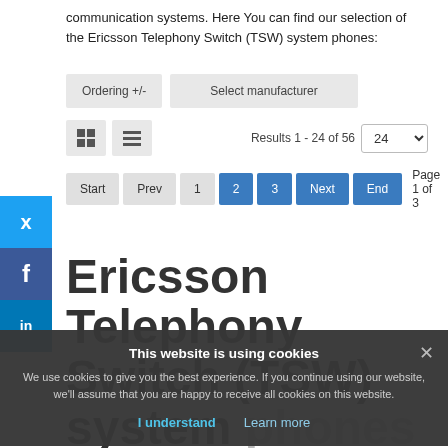communication systems. Here You can find our selection of the Ericsson Telephony Switch (TSW) system phones:
[Figure (screenshot): Web page UI with filter controls: 'Ordering +/-' button, 'Select manufacturer' button, grid/list view toggle icons, 'Results 1 - 24 of 56' text, and a '24' per-page dropdown selector.]
[Figure (screenshot): Pagination controls: Start, Prev, 1, 2 (active/blue), 3 (blue), Next (blue), End (blue) buttons, and 'Page 1 of 3' label.]
[Figure (screenshot): Social media sidebar buttons: Twitter (blue bird), Facebook (f), LinkedIn (in).]
Ericsson Telephony Switch (TSW) system phones
This website is using cookies
We use cookies to give you the best experience. If you continue using our website, we'll assume that you are happy to receive all cookies on this website.
I understand    Learn more